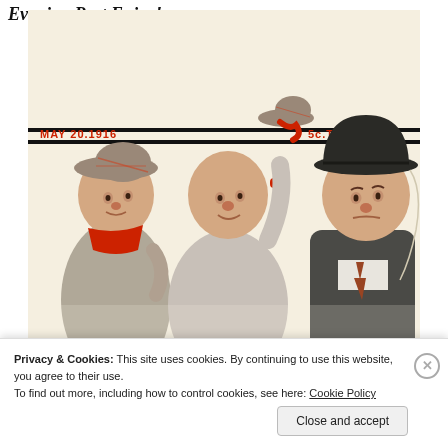Evening Post Enjoy!
[Figure (illustration): Saturday Evening Post magazine cover from May 20, 1916, showing three boys — two in casual clothes with red scarves, one holding a cap in the air, and a third boy in a bowler hat and suit looking disgruntled. Text on cover reads 'MAY 20.1916' and '5c. THE COPY' in red and black.]
Privacy & Cookies: This site uses cookies. By continuing to use this website, you agree to their use.
To find out more, including how to control cookies, see here: Cookie Policy
Close and accept